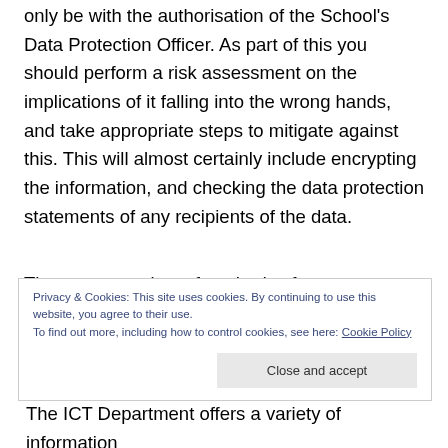only be with the authorisation of the School's Data Protection Officer. As part of this you should perform a risk assessment on the implications of it falling into the wrong hands, and take appropriate steps to mitigate against this. This will almost certainly include encrypting the information, and checking the data protection statements of any recipients of the data.
There are a variety of methods of remote access to systems available (in particular using VPN and
Privacy & Cookies: This site uses cookies. By continuing to use this website, you agree to their use.
To find out more, including how to control cookies, see here: Cookie Policy
The ICT Department offers a variety of information